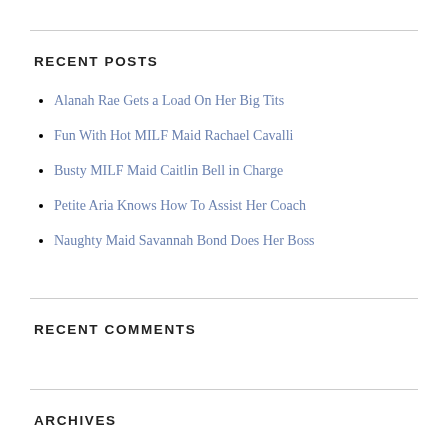RECENT POSTS
Alanah Rae Gets a Load On Her Big Tits
Fun With Hot MILF Maid Rachael Cavalli
Busty MILF Maid Caitlin Bell in Charge
Petite Aria Knows How To Assist Her Coach
Naughty Maid Savannah Bond Does Her Boss
RECENT COMMENTS
ARCHIVES